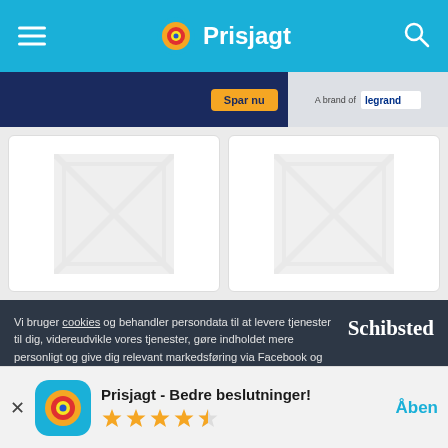Prisjagt
[Figure (screenshot): Advertisement banner with dark blue background showing 'Spar nu' orange button and Legrand logo on right]
[Figure (screenshot): Two product card placeholders with no-image icons]
Vi bruger cookies og behandler persondata til at levere tjenester til dig, videreudvikle vores tjenester, gøre indholdet mere personligt og give dig relevant markedsføring via Facebook og Google.Vi er en del af Schibsted. Schibsted og deres annoncepartnere er ansvarlige for leveringen og personaliseringen af annoncer på Prisjagt og andre Schibsted-sites.
Prisjagt - Bedre beslutninger!
Åben